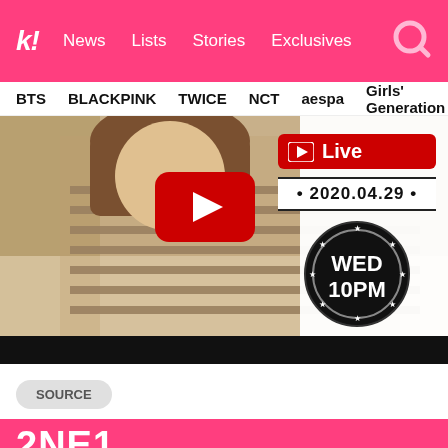k! News Lists Stories Exclusives
BTS BLACKPINK TWICE NCT aespa Girls' Generation
[Figure (screenshot): YouTube Live video thumbnail showing a person in a striped shirt. Right side shows YouTube Live badge, date 2020.04.29, and WED 10PM circular badge.]
SOURCE
2NE1
Light Extended Feminine Roadsuit My Care Package